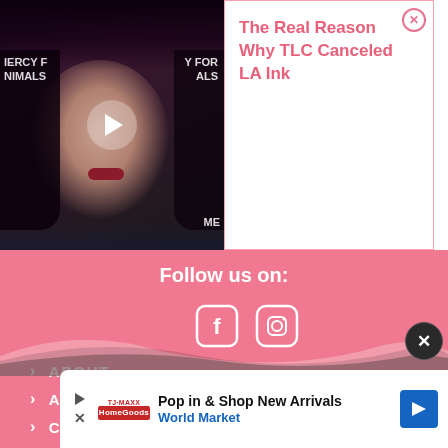[Figure (photo): Video thumbnail showing a woman with dark hair and red lips at a Mercy for Animals event, with a play button overlay]
The Real Reason Why TLC Canceled LA Ink
Follow us on:
[Figure (other): Facebook icon in white on pink background]
[Figure (other): Instagram icon in white on pink background]
ABOUT
AUTHORS
CONTACT US
PRIVACY
COMPLAINTS
Pop in & Shop New Arrivals
World Market